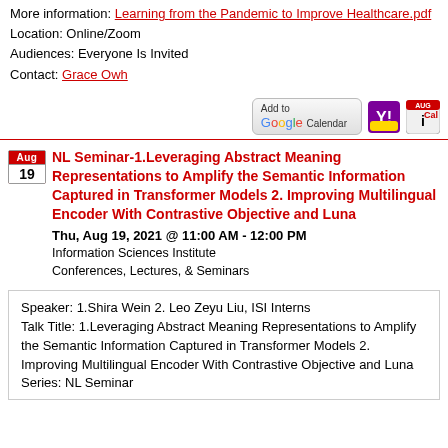More Information: Learning from the Pandemic to Improve Healthcare.pdf
Location: Online/Zoom
Audiences: Everyone Is Invited
Contact: Grace Owh
[Figure (screenshot): Add to Google Calendar button, Yahoo Calendar icon, and iCal icon]
NL Seminar-1.Leveraging Abstract Meaning Representations to Amplify the Semantic Information Captured in Transformer Models 2. Improving Multilingual Encoder With Contrastive Objective and Luna
Thu, Aug 19, 2021 @ 11:00 AM - 12:00 PM
Information Sciences Institute
Conferences, Lectures, & Seminars
Speaker: 1.Shira Wein 2. Leo Zeyu Liu, ISI Interns
Talk Title: 1.Leveraging Abstract Meaning Representations to Amplify the Semantic Information Captured in Transformer Models 2. Improving Multilingual Encoder With Contrastive Objective and Luna
Series: NL Seminar